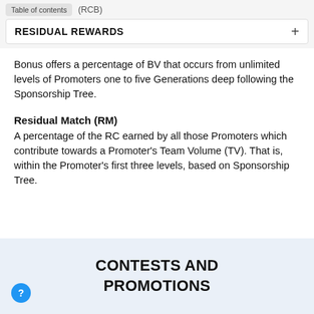Table of contents   (RCB)
RESIDUAL REWARDS
Bonus offers a percentage of BV that occurs from unlimited levels of Promoters one to five Generations deep following the Sponsorship Tree.
Residual Match (RM)
A percentage of the RC earned by all those Promoters which contribute towards a Promoter's Team Volume (TV). That is, within the Promoter's first three levels, based on Sponsorship Tree.
CONTESTS AND PROMOTIONS